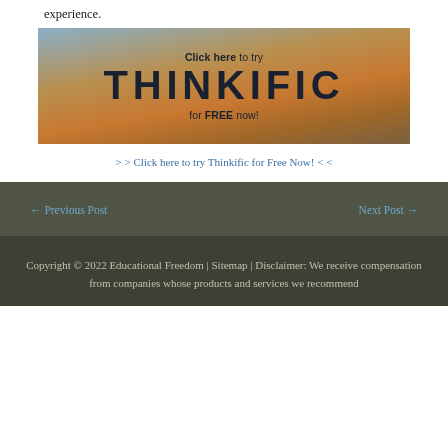experience.
[Figure (illustration): Thinkific advertisement banner with sunset sky background. Text reads: 'Click here to try THINKIFIC for FREE now!']
> > Click here to try Thinkific for Free Now! < <
← Previous Post
Next Post →
Copyright © 2022 Educational Freedom | Sitemap | Disclaimer: We receive compensation from companies whose products and services we recommend